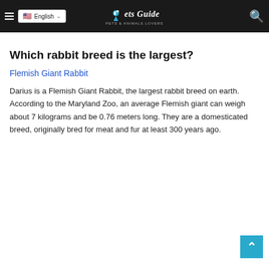English | ets Guide
Which rabbit breed is the largest?
Flemish Giant Rabbit
Darius is a Flemish Giant Rabbit, the largest rabbit breed on earth. According to the Maryland Zoo, an average Flemish giant can weigh about 7 kilograms and be 0.76 meters long. They are a domesticated breed, originally bred for meat and fur at least 300 years ago.